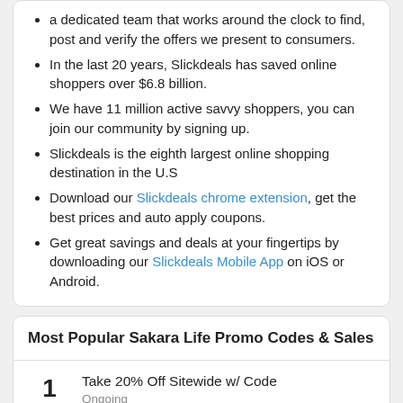a dedicated team that works around the clock to find, post and verify the offers we present to consumers.
In the last 20 years, Slickdeals has saved online shoppers over $6.8 billion.
We have 11 million active savvy shoppers, you can join our community by signing up.
Slickdeals is the eighth largest online shopping destination in the U.S
Download our Slickdeals chrome extension, get the best prices and auto apply coupons.
Get great savings and deals at your fingertips by downloading our Slickdeals Mobile App on iOS or Android.
Most Popular Sakara Life Promo Codes & Sales
1
Take 20% Off Sitewide w/ Code
Ongoing